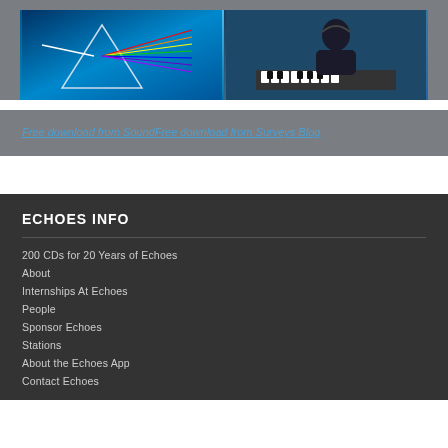[Figure (photo): Two images side by side: left shows Dark Side of the Moon prism album art with light ray rainbow effect; right shows a person at a keyboard/piano in dim lighting]
Free download from SoundFree download from Surveys Blog
ECHOES INFO
200 CDs for 20 Years of Echoes
About
Internships At Echoes
People
Sponsor Echoes
Stations
About the Echoes App
Contact Echoes